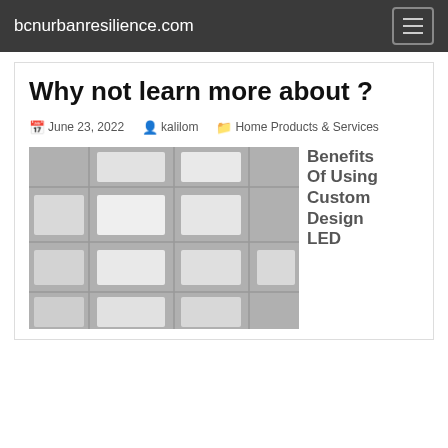bcnurbanresilience.com
Why not learn more about ?
June 23, 2022  kalilom  Home Products & Services
[Figure (photo): Photo of a ceiling with LED panel lights in a grid tile pattern, gray/white tones]
Benefits Of Using Custom Design LED